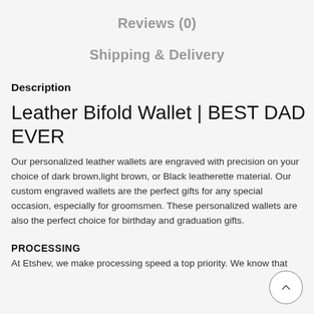Reviews (0)
Shipping & Delivery
Description
Leather Bifold Wallet | BEST DAD EVER
Our personalized leather wallets are engraved with precision on your choice of dark brown,light brown, or Black leatherette material. Our custom engraved wallets are the perfect gifts for any special occasion, especially for groomsmen. These personalized wallets are also the perfect choice for birthday and graduation gifts.
PROCESSING
At Etshev, we make processing speed a top priority. We know that